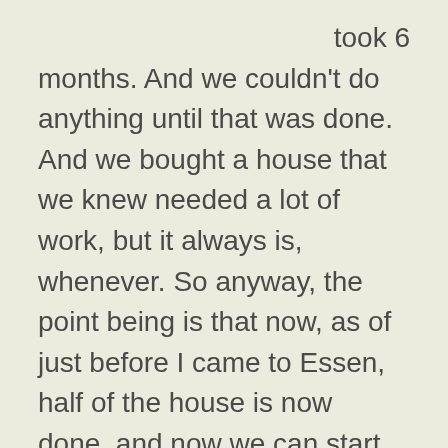took 6 months. And we couldn't do anything until that was done. And we bought a house that we knew needed a lot of work, but it always is, whenever. So anyway, the point being is that now, as of just before I came to Essen, half of the house is now done, and now we can start on the other half. And what that means is one of the rooms that is done is going to be my recording studio, which means I can finally set up all my recording equipment and start doing videos again. And so, I'm hoping that by the